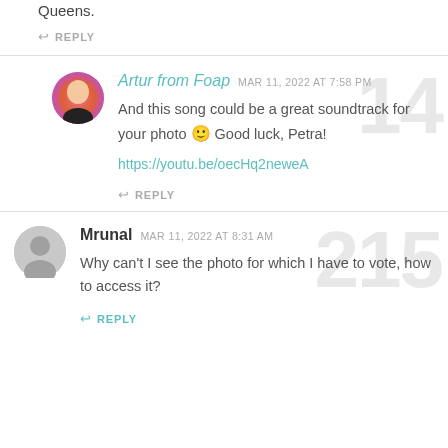Queens.
REPLY
Artur from Foap  MAR 11, 2022 AT 7:58 PM
And this song could be a great soundtrack for your photo 🙂 Good luck, Petra!
https://youtu.be/oecHq2neweA
REPLY
Mrunal  MAR 11, 2022 AT 8:31 AM
Why can't I see the photo for which I have to vote, how to access it?
REPLY